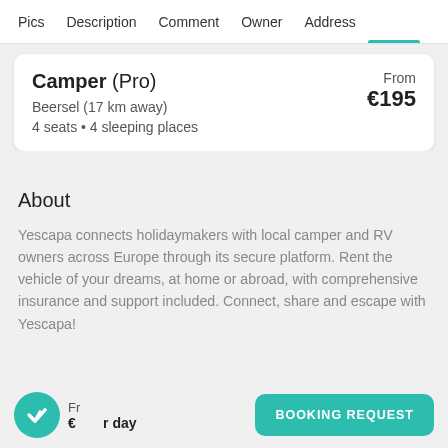Pics  Description  Comment  Owner  Address
Camper (Pro)
Beersel (17 km away)
4 seats • 4 sleeping places
From
€195
About
Yescapa connects holidaymakers with local camper and RV owners across Europe through its secure platform. Rent the vehicle of your dreams, at home or abroad, with comprehensive insurance and support included. Connect, share and escape with Yescapa!
Fr... €...r day
BOOKING REQUEST